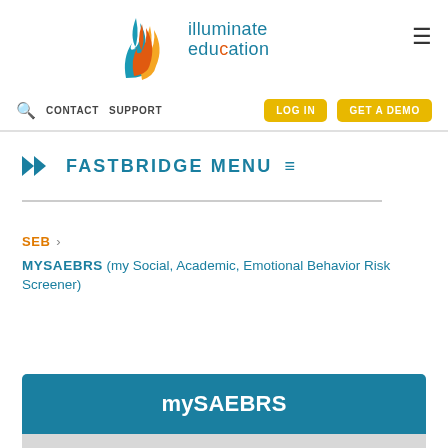[Figure (logo): Illuminate Education logo with flame icon and text 'illuminate education']
CONTACT  SUPPORT  LOG IN  GET A DEMO
FASTBRIDGE MENU
SEB > MYSAEBRS (my Social, Academic, Emotional Behavior Risk Screener)
mySAEBRS